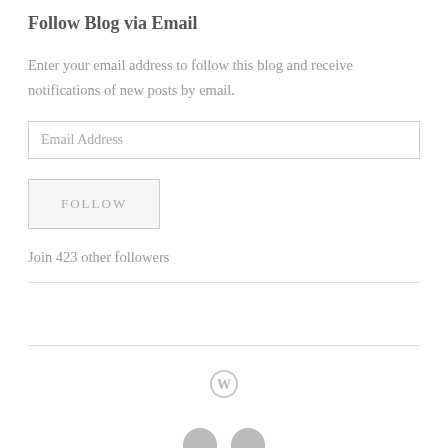Follow Blog via Email
Enter your email address to follow this blog and receive notifications of new posts by email.
Email Address
FOLLOW
Join 423 other followers
[Figure (logo): WordPress logo circle icon]
[Figure (illustration): Two partial social media icon circles at bottom edge]